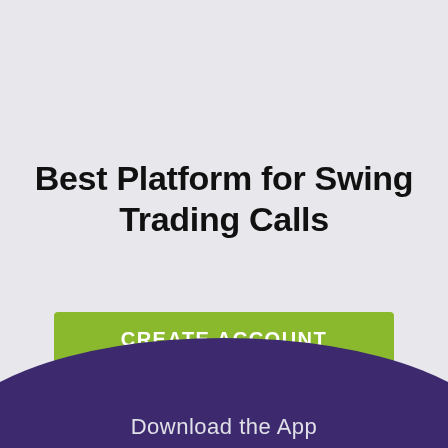Best Platform for Swing Trading Calls
CREATE ACCOUNT
Already a member?  Sign In
Download the App